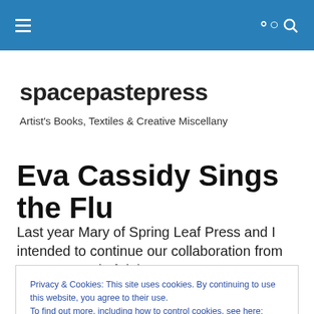spacepastepress navigation bar
spacepastepress
Artist's Books, Textiles & Creative Miscellany
Eva Cassidy Sings the Flu
Last year Mary of Spring Leaf Press and I intended to continue our collaboration from 2012. Instead of doing
Privacy & Cookies: This site uses cookies. By continuing to use this website, you agree to their use.
To find out more, including how to control cookies, see here: Cookie Policy